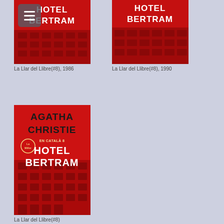[Figure (photo): Book cover of Hotel Bertram by Agatha Christie, red cover with building illustration, La Llar del Llibre edition]
La Llar del Llibre(#8), 1986
[Figure (photo): Book cover of Hotel Bertram by Agatha Christie, red cover with building illustration, La Llar del Llibre edition 1990]
La Llar del Llibre(#8), 1990
[Figure (photo): Book cover of Hotel Bertram by Agatha Christie, red cover with Agatha Christie en Català branding and building illustration, La Llar del Llibre edition]
La Llar del Llibre(#8)